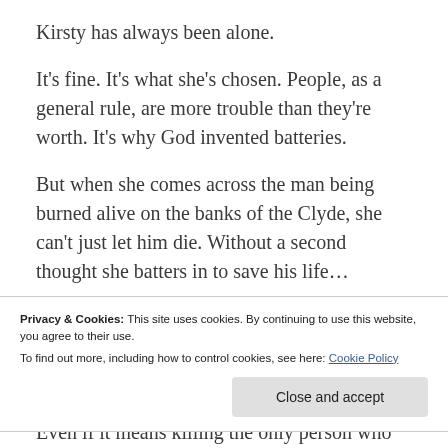Kirsty has always been alone.
It’s fine. It’s what she’s chosen. People, as a general rule, are more trouble than they’re worth. It’s why God invented batteries.
But when she comes across the man being burned alive on the banks of the Clyde, she can’t just let him die. Without a second thought she batters in to save his life…
And accidentally tears the fabric of time.
Privacy & Cookies: This site uses cookies. By continuing to use this website, you agree to their use.
To find out more, including how to control cookies, see here: Cookie Policy
Even if it means killing the only person who ever